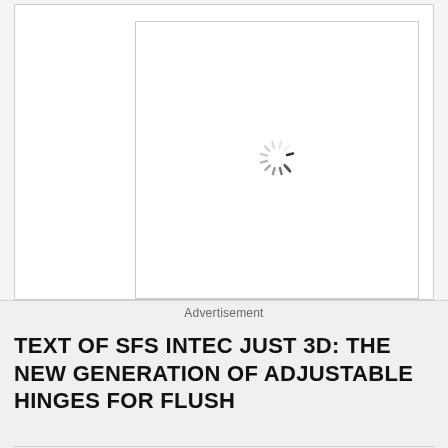[Figure (screenshot): A browser-rendered area showing a white page container with a nested white panel. Inside the panel is a loading spinner icon (radial dashes arranged in a circle, partially faded to indicate rotation/loading state). The image appears to be loading.]
Advertisement
TEXT OF SFS INTEC JUST 3D: THE NEW GENERATION OF ADJUSTABLE HINGES FOR FLUSH